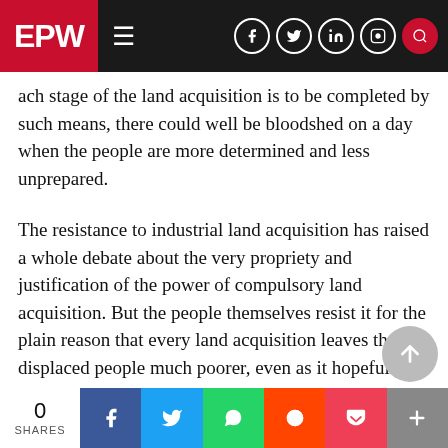EPW
ach stage of the land acquisition is to be completed by such means, there could well be bloodshed on a day when the people are more determined and less unprepared.
The resistance to industrial land acquisition has raised a whole debate about the very propriety and justification of the power of compulsory land acquisition. But the people themselves resist it for the plain reason that every land acquisition leaves the displaced people much poorer, even as it hopefully leaves the country's GDP richer, because India does not have even the semblance of a f and just compensation and rehabilitation polic
0 SHARES  f  twitter  whatsapp  reddit  pocket  +